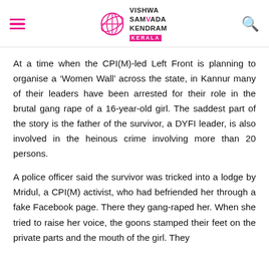Vishwa Samvada Kendram Kerala
At a time when the CPI(M)-led Left Front is planning to organise a ‘Women Wall’ across the state, in Kannur many of their leaders have been arrested for their role in the brutal gang rape of a 16-year-old girl. The saddest part of the story is the father of the survivor, a DYFI leader, is also involved in the heinous crime involving more than 20 persons.
A police officer said the survivor was tricked into a lodge by Mridul, a CPI(M) activist, who had befriended her through a fake Facebook page. There they gang-raped her. When she tried to raise her voice, the goons stamped their feet on the private parts and the mouth of the girl. They